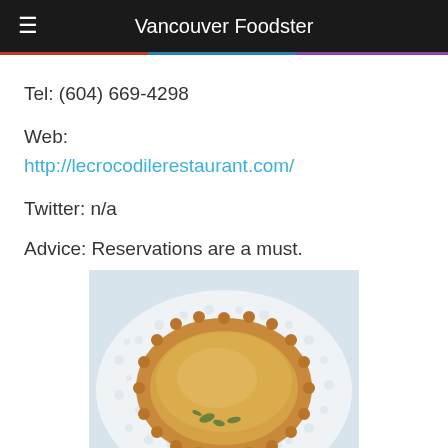Vancouver Foodster
Tel: (604) 669-4298
Web:
http://lecrocodilerestaurant.com/
Twitter: n/a
Advice: Reservations are a must.
[Figure (photo): A golden-baked individual quiche or tart in a fluted pastry shell, garnished with herbs, served on a white decorative lace-pattern plate.]